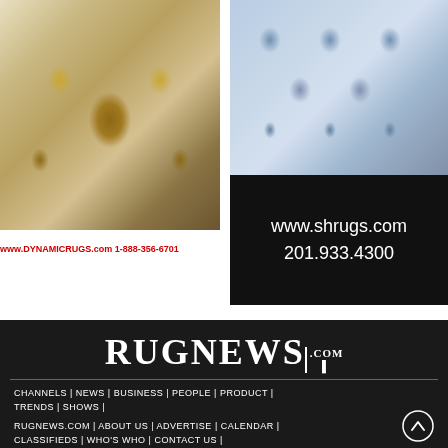[Figure (photo): Cream and beige patterned rug with floral medallion design (Dynamic Rugs advertisement)]
www.DYNAMICRUGS.com 1-888-356-6701
[Figure (photo): Blue and white floral patterned rug (S. Rugs advertisement) with contact info: www.shrugs.com, 201.933.4300]
[Figure (logo): RUGNEWS.COM logo in white on dark background]
CHANNELS | NEWS | BUSINESS | PEOPLE | PRODUCT | TRENDS | SHOWS |
RUGNEWS.COM | ABOUT US | ADVERTISE | CALENDAR | CLASSIFIEDS | WHO'S WHO | CONTACT US |
Subscribe to Newsletter